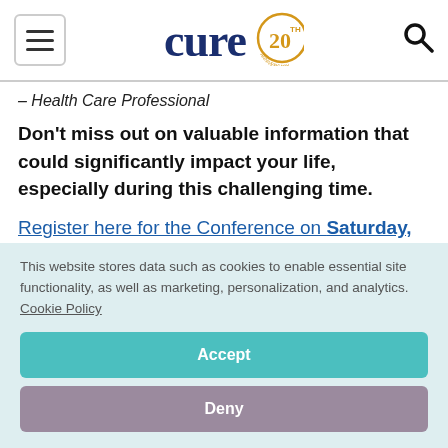cure 20th anniversary logo, hamburger menu, search icon
– Health Care Professional
Don't miss out on valuable information that could significantly impact your life, especially during this challenging time.
Register here for the Conference on Saturday,
This website stores data such as cookies to enable essential site functionality, as well as marketing, personalization, and analytics. Cookie Policy
Accept
Deny